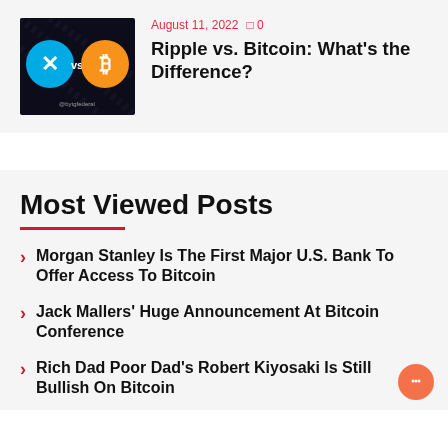[Figure (photo): Article thumbnail showing Ripple XRP logo vs Bitcoin logo on dark background]
August 11, 2022   □ 0
Ripple vs. Bitcoin: What's the Difference?
Most Viewed Posts
Morgan Stanley Is The First Major U.S. Bank To Offer Access To Bitcoin
Jack Mallers' Huge Announcement At Bitcoin Conference
Rich Dad Poor Dad's Robert Kiyosaki Is Still Bullish On Bitcoin